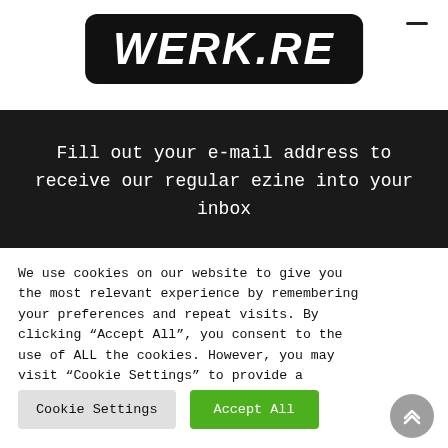[Figure (logo): WERK.RE logo in bold italic white text on black rounded rectangle background]
Fill out your e-mail address to receive our regular ezine into your inbox
We use cookies on our website to give you the most relevant experience by remembering your preferences and repeat visits. By clicking “Accept All”, you consent to the use of ALL the cookies. However, you may visit “Cookie Settings” to provide a controlled consent.
Cookie Settings
Accept All